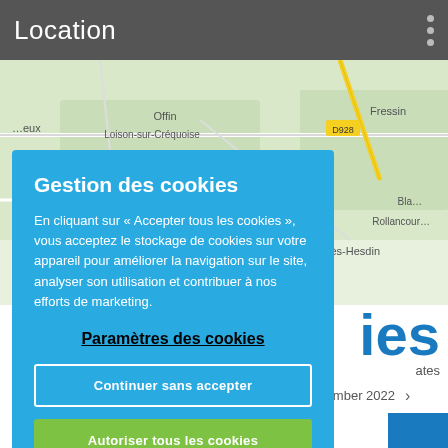Location
[Figure (map): Street map showing locations including Offin, Loison-sur-Créquoise, Fressin, Rollancourt, Auchy-lès-Hesdin with road D928 visible]
Gestion des cookies
En cliquant sur « Accepter tous les cookies », vous acceptez le stockage de cookies sur votre appareil pour améliorer la navigation sur le site, analyser son utilisation et contribuer à nos efforts de marketing.
Paramètres des cookies
Continuer sans accepter
Autoriser tous les cookies
to 13/08/2022